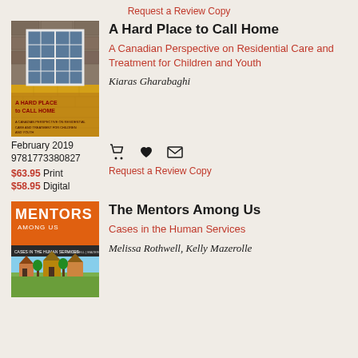Request a Review Copy
[Figure (photo): Book cover of 'A Hard Place to Call Home' showing a yellow brick building with a white-framed window]
A Hard Place to Call Home
A Canadian Perspective on Residential Care and Treatment for Children and Youth
Kiaras Gharabaghi
February 2019
9781773380827
$63.95 Print
$58.95 Digital
Request a Review Copy
[Figure (photo): Book cover of 'The Mentors Among Us' with orange top section and illustrated village scene on bottom]
The Mentors Among Us
Cases in the Human Services
Melissa Rothwell, Kelly Mazerolle